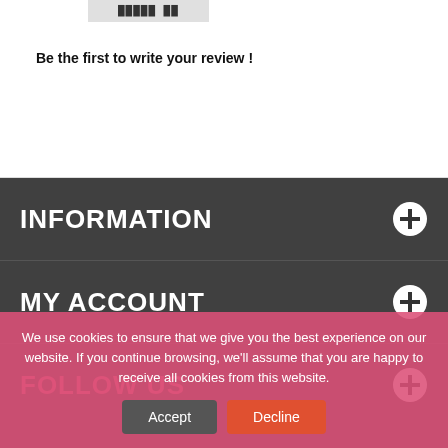Be the first to write your review !
INFORMATION
MY ACCOUNT
FOLLOW US
We use cookies to ensure that we give you the best experience on our website. If you continue browsing, we'll assume that you are happy to receive all cookies from this website.
Accept  Decline